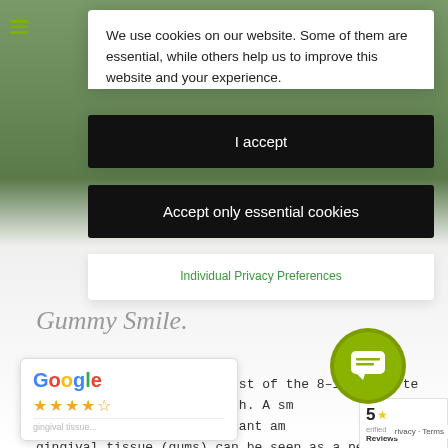We use cookies on our website. Some of them are essential, while others help us to improve this website and your experience.
I accept
Accept only essential cookies
Individual Privacy Preferences
Gummy Smile.
A beautiful smile shows most of the 8-10 upper te... above the two front teeth. A sm... gummy smile" if a significant am... gingival tissue (gums) can be seen as a person smi...
[Figure (screenshot): Google review widget showing Google logo and 4-star rating (4 full stars and 1 half star)]
[Figure (other): Chat bubble button (lime green circular button with speech bubble icon)]
[Figure (other): Verified Reviews widget (partially visible on right side) showing score 5 with star, 'Verified Reviews' label, and 'wf' logo with star]